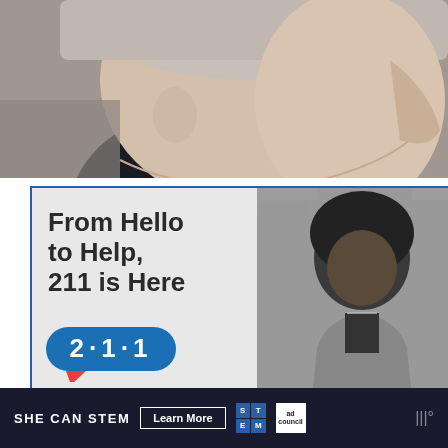[Figure (photo): Close-up side profile photo of a young person with a short buzz cut, light skin, facing right, on a muted background]
[Figure (infographic): Advertisement banner: '211 is Here' - From Hello to Help, 211 is Here. Shows a young Black woman in a denim jacket against a brick wall background (black and white photo). Blue speech bubble with '2·1·1' text. Close button (X) in top right corner.]
[Figure (infographic): Bottom banner ad: 'SHE CAN STEM' with 'Learn More' button, STEM logo grid, Ad Council logo, and weather widget icon on dark navy background]